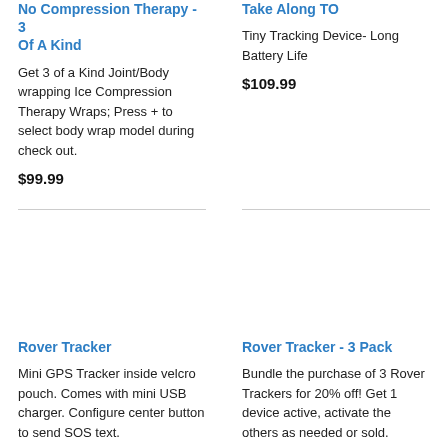No Compression Therapy - 3 Of A Kind
Get 3 of a Kind Joint/Body wrapping Ice Compression Therapy Wraps; Press + to select body wrap model during check out.
$99.99
Take Along TO
Tiny Tracking Device- Long Battery Life
$109.99
Rover Tracker
Mini GPS Tracker inside velcro pouch. Comes with mini USB charger. Configure center button to send SOS text.
Rover Tracker - 3 Pack
Bundle the purchase of 3 Rover Trackers for 20% off! Get 1 device active, activate the others as needed or sold.